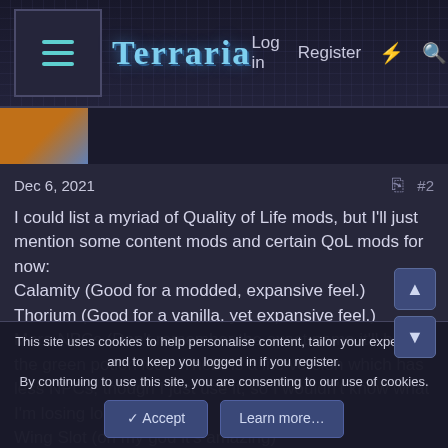Terraria — Log in   Register
Dec 6, 2021   #2
I could list a myriad of Quality of Life mods, but I'll just mention some content mods and certain QoL mods for now:
Calamity (Good for a modded, expansive feel.)
Thorium (Good for a vanilla, yet expansive feel.)
More NPCs (Don't remember the exact name it'll have the green potion icon. There is a lite version which has less NPCs, though I just use it, so I wouldn't know what I'm losing lol.)
Wing Slot (oh my god it's amazing)
Magic Storage (Complicated, but solves so many storage problems.
Fargo's Souls Mod (For your inner Masochist. This one is iffy
This site uses cookies to help personalise content, tailor your experience and to keep you logged in if you register.
By continuing to use this site, you are consenting to our use of cookies.